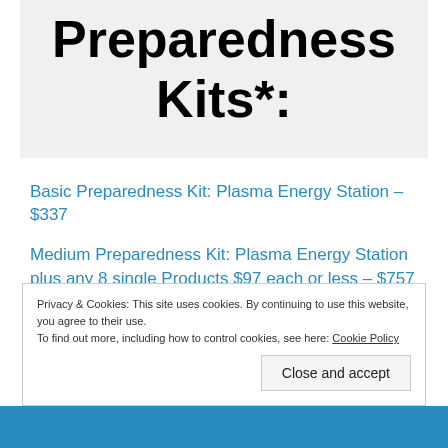Preparedness Kits*:
Basic Preparedness Kit:  Plasma Energy Station – $337
Medium Preparedness Kit:  Plasma Energy Station plus any 8 single Products $97 each or less – $757
Privacy & Cookies: This site uses cookies. By continuing to use this website, you agree to their use. To find out more, including how to control cookies, see here: Cookie Policy
Close and accept